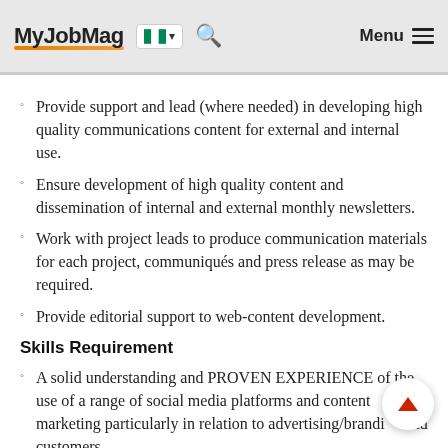MyJobMag [Nigeria flag] Menu
Provide support and lead (where needed) in developing high quality communications content for external and internal use.
Ensure development of high quality content and dissemination of internal and external monthly newsletters.
Work with project leads to produce communication materials for each project, communiqués and press release as may be required.
Provide editorial support to web-content development.
Skills Requirement
A solid understanding and PROVEN EXPERIENCE of the use of a range of social media platforms and content marketing particularly in relation to advertising/branding and customers